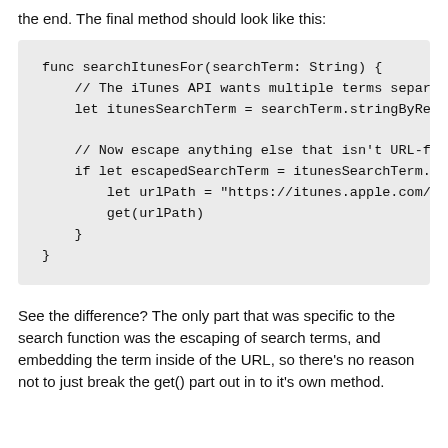the end. The final method should look like this:
[Figure (screenshot): Code block showing Swift function searchItunesFor(searchTerm: String) with comments and nested let/if statements for URL encoding and iTunes search path]
See the difference? The only part that was specific to the search function was the escaping of search terms, and embedding the term inside of the URL, so there's no reason not to just break the get() part out in to it's own method.